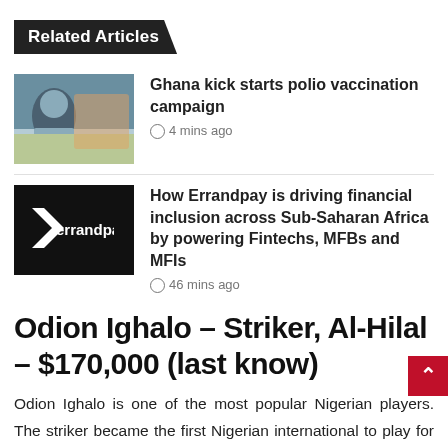Related Articles
[Figure (photo): Photo of a person leaning over, vaccination campaign scene]
Ghana kick starts polio vaccination campaign
4 mins ago
[Figure (logo): Errandpay logo — black background with white arrow and errandpay text]
How Errandpay is driving financial inclusion across Sub-Saharan Africa by powering Fintechs, MFBs and MFIs
46 mins ago
Odion Ighalo – Striker, Al-Hilal – $170,000 (last know)
Odion Ighalo is one of the most popular Nigerian players. The striker became the first Nigerian international to play for Manchester United after he joined the club on loan from the